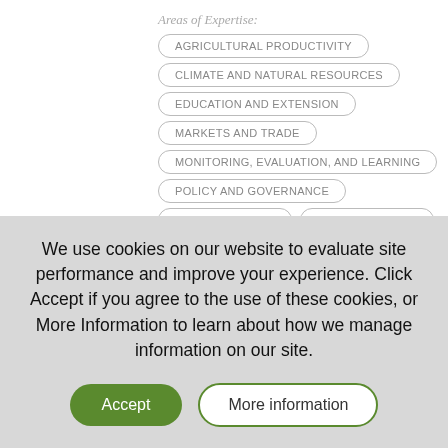Areas of Expertise:
AGRICULTURAL PRODUCTIVITY
CLIMATE AND NATURAL RESOURCES
EDUCATION AND EXTENSION
MARKETS AND TRADE
MONITORING, EVALUATION, AND LEARNING
POLICY AND GOVERNANCE
We use cookies on our website to evaluate site performance and improve your experience. Click Accept if you agree to the use of these cookies, or More Information to learn about how we manage information on our site.
Accept
More information